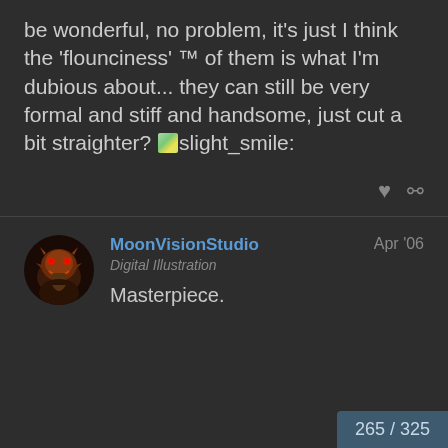be wonderful, no problem, it's just I think the 'flounciness' ™ of them is what I'm dubious about... they can still be very formal and stiff and handsome, just cut a bit straighter? :slight_smile:
MoonVisionStudio
Apr '06
Digital Illustration
Masterpiece.
265 / 325